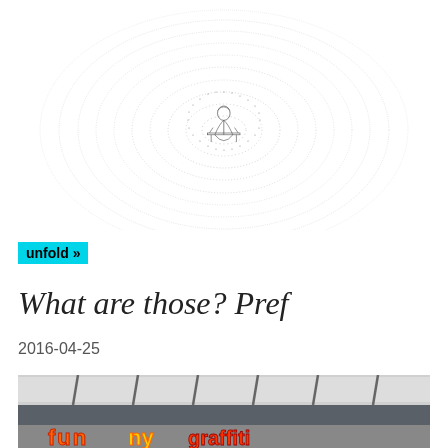[Figure (illustration): Circular spiral text art with a small Alice in Wonderland figure (a young woman sitting at a table) at the center. The text spirals outward in concentric rings on a white background.]
unfold »
What are those? Pref
2016-04-25
[Figure (photo): Photo of a building exterior showing a rooftop with metal supports and tarpaulin, and below it colorful graffiti lettering in orange, red and yellow on a grey surface.]